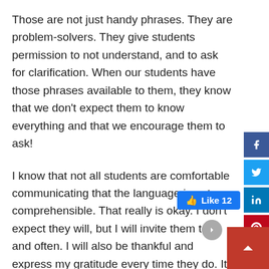Those are not just handy phrases. They are problem-solvers. They give students permission to not understand, and to ask for clarification. When our students have those phrases available to them, they know that we don't expect them to know everything and that we encourage them to ask!
I know that not all students are comfortable communicating that the language is not comprehensible. That really is okay. I don't expect they will, but I will invite them to, and often. I will also be thankful and express my gratitude every time they do. It helps us all. It takes frequent reminders; it really does. I have had to actually put it on the board, in PowerPoint or my lesson plans or I forget to remind